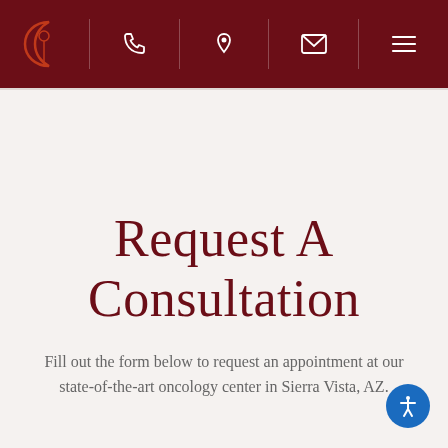[Navigation bar with logo, phone, location, email, and menu icons]
Request A Consultation
Fill out the form below to request an appointment at our state-of-the-art oncology center in Sierra Vista, AZ.